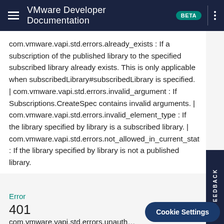VMware Developer Documentation BETA
com.vmware.vapi.std.errors.already_exists : If a subscription of the published library to the specified subscribed library already exists. This is only applicable when subscribedLibrary#subscribedLibrary is specified. | com.vmware.vapi.std.errors.invalid_argument : If Subscriptions.CreateSpec contains invalid arguments. | com.vmware.vapi.std.errors.invalid_element_type : If the library specified by library is a subscribed library. | com.vmware.vapi.std.errors.not_allowed_in_current_state : If the library specified by library is not a published library.
Error
401
com.vmware.vapi.std.errors.unauthenticated : If the user that requested the operation cannot be authenticated.